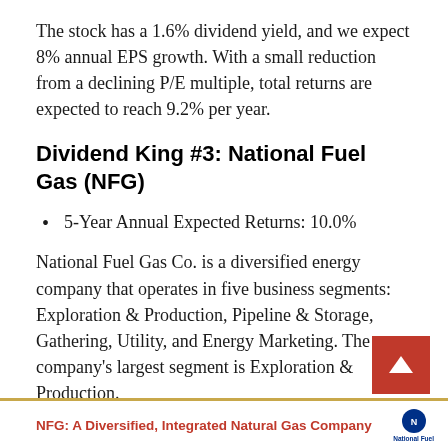The stock has a 1.6% dividend yield, and we expect 8% annual EPS growth. With a small reduction from a declining P/E multiple, total returns are expected to reach 9.2% per year.
Dividend King #3: National Fuel Gas (NFG)
5-Year Annual Expected Returns: 10.0%
National Fuel Gas Co. is a diversified energy company that operates in five business segments: Exploration & Production, Pipeline & Storage, Gathering, Utility, and Energy Marketing. The company's largest segment is Exploration & Production.
NFG: A Diversified, Integrated Natural Gas Company
[Figure (logo): National Fuel logo]